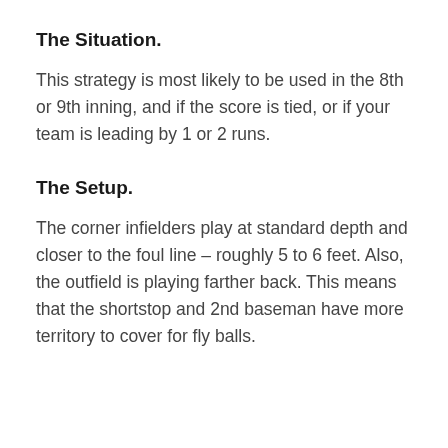The Situation.
This strategy is most likely to be used in the 8th or 9th inning, and if the score is tied, or if your team is leading by 1 or 2 runs.
The Setup.
The corner infielders play at standard depth and closer to the foul line – roughly 5 to 6 feet. Also, the outfield is playing farther back. This means that the shortstop and 2nd baseman have more territory to cover for fly balls.